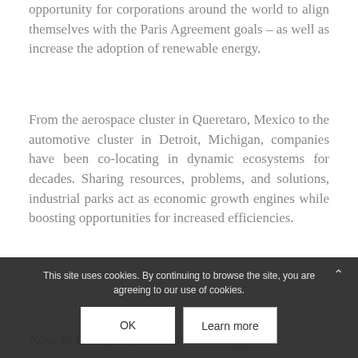opportunity for corporations around the world to align themselves with the Paris Agreement goals – as well as increase the adoption of renewable energy.
From the aerospace cluster in Queretaro, Mexico to the automotive cluster in Detroit, Michigan, companies have been co-locating in dynamic ecosystems for decades. Sharing resources, problems, and solutions, industrial parks act as economic growth engines while boosting opportunities for increased efficiencies.
Now, as the fight against climate change
This site uses cookies. By continuing to browse the site, you are agreeing to our use of cookies.